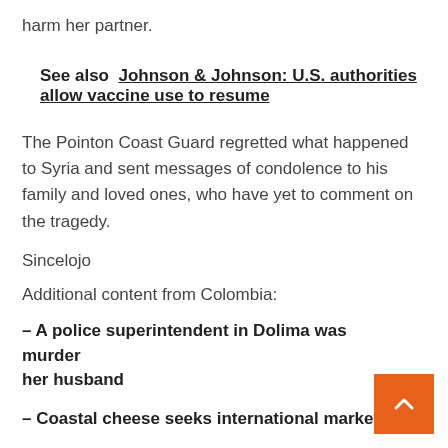harm her partner.
See also  Johnson & Johnson: U.S. authorities allow vaccine use to resume
The Pointon Coast Guard regretted what happened to Syria and sent messages of condolence to his family and loved ones, who have yet to comment on the tragedy.
Sincelojo
Additional content from Colombia:
– A police superintendent in Dolima was murdered her husband
– Coastal cheese seeks international markets